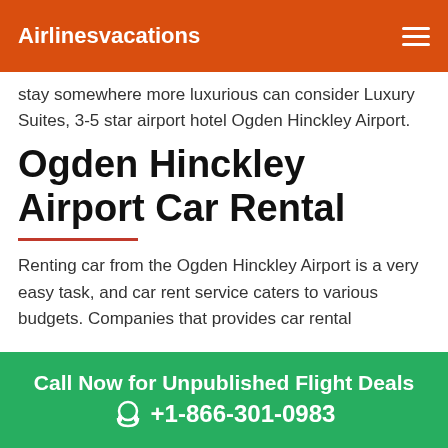Airlinesvacations
stay somewhere more luxurious can consider Luxury Suites, 3-5 star airport hotel Ogden Hinckley Airport.
Ogden Hinckley Airport Car Rental
Renting car from the Ogden Hinckley Airport is a very easy task, and car rent service caters to various budgets. Companies that provides car rental
Call Now for Unpublished Flight Deals +1-866-301-0983